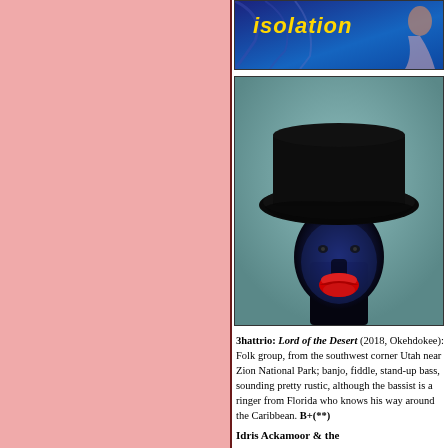[Figure (photo): Album cover partially visible at top - blue satin fabric with 'isolation' text in gold/yellow italic font, partial figure of woman in blue dress]
[Figure (photo): Album cover for 3hattrio Lord of the Desert - dark figure wearing large black cowboy hat against teal/grey background, face mostly dark with bright red lips visible]
3hattrio: Lord of the Desert (2018, Okehdokee): Folk group, from the southwest corner Utah near Zion National Park; banjo, fiddle, stand-up bass, sounding pretty rustic, although the bassist is a ringer from Florida who knows his way around the Caribbean. B+(**)
Idris Ackamoor & the...